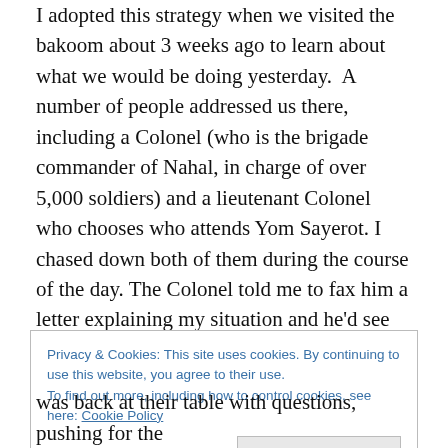I adopted this strategy when we visited the bakoom about 3 weeks ago to learn about what we would be doing yesterday.  A number of people addressed us there, including a Colonel (who is the brigade commander of Nahal, in charge of over 5,000 soldiers) and a lieutenant Colonel who chooses who attends Yom Sayerot. I chased down both of them during the course of the day. The Colonel told me to fax him a letter explaining my situation and he'd see what he could do, and the Lieutenant Colonel told me to speak to her commanders. Her commanders, situated outside the lecture hall where we
Privacy & Cookies: This site uses cookies. By continuing to use this website, you agree to their use.
To find out more, including how to control cookies, see here: Cookie Policy
Close and accept
was back at their table with questions, pushing for the